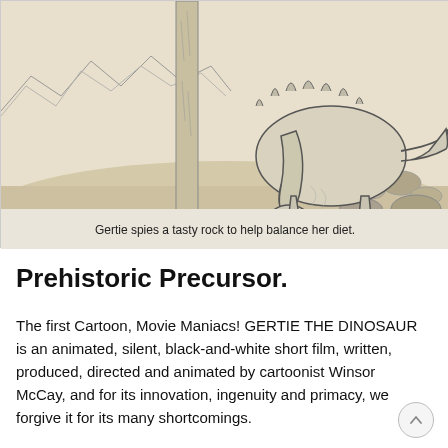[Figure (illustration): Pencil/ink sketch illustration of a large dinosaur (Gertie) bending its head down toward a rock on a barren prehistoric landscape with mountains in the background and a tall bare tree trunk on the left side.]
Gertie spies a tasty rock to help balance her diet.
Prehistoric Precursor.
The first Cartoon, Movie Maniacs! GERTIE THE DINOSAUR is an animated, silent, black-and-white short film, written, produced, directed and animated by cartoonist Winsor McCay, and for its innovation, ingenuity and primacy, we forgive it for its many shortcomings.